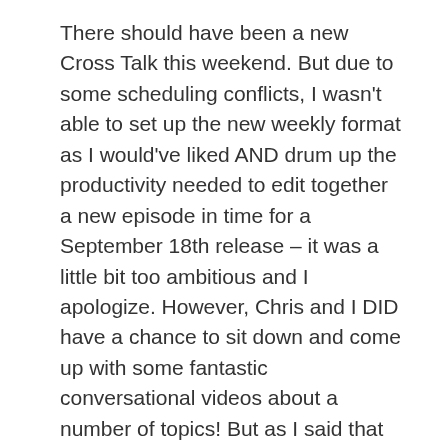There should have been a new Cross Talk this weekend. But due to some scheduling conflicts, I wasn't able to set up the new weekly format as I would've liked AND drum up the productivity needed to edit together a new episode in time for a September 18th release – it was a little bit too ambitious and I apologize. However, Chris and I DID have a chance to sit down and come up with some fantastic conversational videos about a number of topics! But as I said that shouldn't be an excuse friends.
To be very clear, the episode is shot, in the middle of editing and it's coming along nicely,